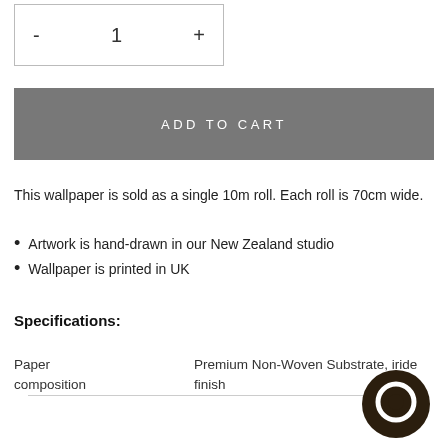- 1 +
ADD TO CART
This wallpaper is sold as a single 10m roll. Each roll is 70cm wide.
Artwork is hand-drawn in our New Zealand studio
Wallpaper is printed in UK
Specifications:
| Paper composition |  |
| --- | --- |
| Paper composition | Premium Non-Woven Substrate, iride... finish |